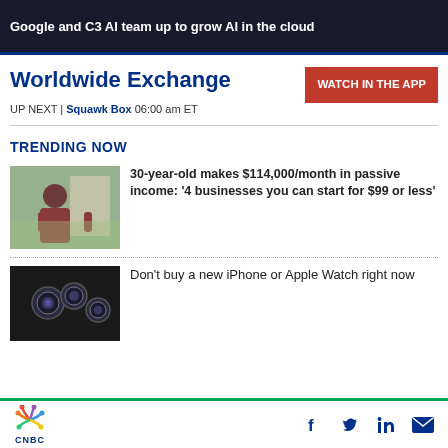[Figure (screenshot): Dark banner with partial text: Google and C3 AI team up to grow AI in the cloud]
Worldwide Exchange
WATCH IN THE APP
UP NEXT | Squawk Box 06:00 am ET
TRENDING NOW
[Figure (photo): Young person standing outdoors wearing a maroon hoodie]
30-year-old makes $114,000/month in passive income: '4 businesses you can start for $99 or less'
[Figure (photo): Close-up of iPhone camera lenses on dark background]
Don't buy a new iPhone or Apple Watch right now
CNBC — social icons: Facebook, Twitter, LinkedIn, Email